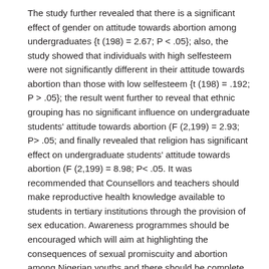The study further revealed that there is a significant effect of gender on attitude towards abortion among undergraduates {t (198) = 2.67; P < .05}; also, the study showed that individuals with high selfesteem were not significantly different in their attitude towards abortion than those with low selfesteem {t (198) = .192; P > .05}; the result went further to reveal that ethnic grouping has no significant influence on undergraduate students' attitude towards abortion (F (2,199) = 2.93; P> .05; and finally revealed that religion has significant effect on undergraduate students' attitude towards abortion (F (2,199) = 8.98; P< .05. It was recommended that Counsellors and teachers should make reproductive health knowledge available to students in tertiary institutions through the provision of sex education. Awareness programmes should be encouraged which will aim at highlighting the consequences of sexual promiscuity and abortion among Nigerian youths and there should be complete sanitization of moral laxity and other social vices of students in tertiary institutions in Nigeria.